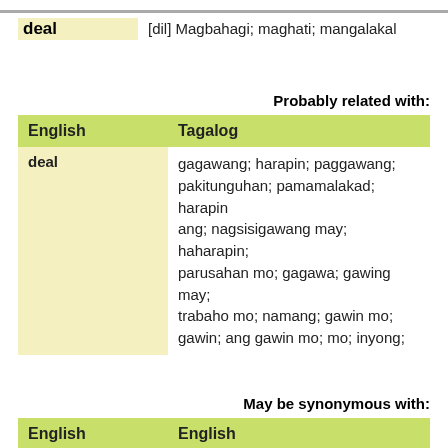deal  [dil] Magbahagi; maghati; mangalakal
Probably related with:
| English | Tagalog |
| --- | --- |
| deal | gagawang; harapin; paggawang; pakitunguhan; pamamalakad; harapin ang; nagsisigawang may; haharapin; parusahan mo; gagawa; gawing may; trabaho mo; namang; gawin mo; gawin; ang gawin mo; mo; inyong; |
May be synonymous with:
| English | English |
| --- | --- |
| deal; | a particular instance of buying or |